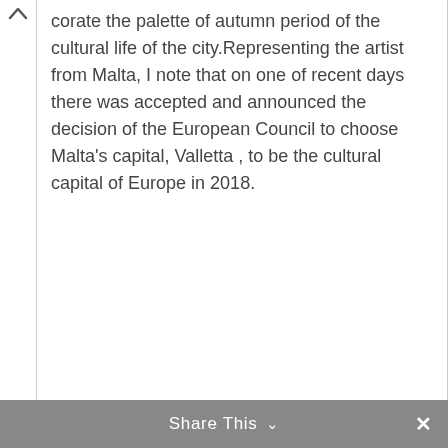…corate the palette of autumn period of the cultural life of the city.Representing the artist from Malta, I note that on one of recent days there was accepted and announced the decision of the European Council to choose Malta's capital, Valletta , to be the cultural capital of Europe in 2018.
Share This ∨  ✕